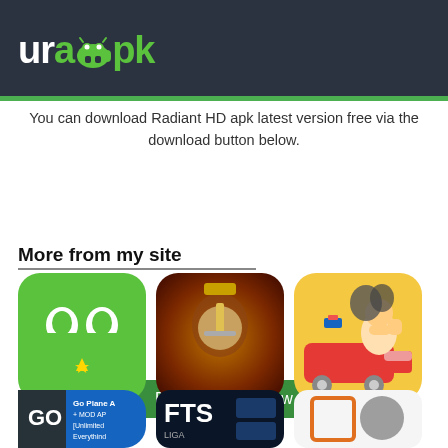urapk (logo with android robot icon)
You can download Radiant HD apk latest version free via the download button below.
[Figure (other): Green Download File Now button]
More from my site
[Figure (other): AC Market APK app icon - green rounded square with two white ovals (robot face) and a star]
Download AC Market APK
[Figure (other): Clash of Kings: The West APK app icon - medieval king warrior with crown and sword]
Download Clash of Kings: The West APK
[Figure (other): Juragan Terminal MOD APK - cartoon character riding on a red truck/bus with Indonesian flag]
Download Juragan Terminal MOD APK
[Figure (other): Go Plane + MOD APK [Unlimited Everything] - blue sky with plane and text]
[Figure (other): FTS1 - dark football game icon with bundesliga and league logos]
[Figure (other): Gray and white app icon with orange square frame and gray circle]